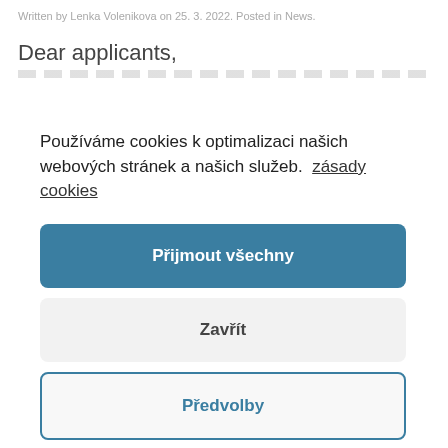Written by Lenka Volenikova on 25. 3. 2022. Posted in News.
Dear applicants,
Používáme cookies k optimalizaci našich webových stránek a našich služeb.  zásady cookies
Přijmout všechny
Zavřít
Předvolby
evaluated by the EU as good practice. This comes as an